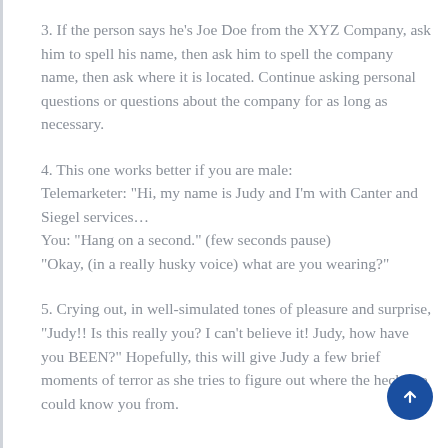3. If the person says he’s Joe Doe from the XYZ Company, ask him to spell his name, then ask him to spell the company name, then ask where it is located. Continue asking personal questions or questions about the company for as long as necessary.
4. This one works better if you are male: Telemarketer: “Hi, my name is Judy and I’m with Canter and Siegel services…
You: “Hang on a second.” (few seconds pause)
“Okay, (in a really husky voice) what are you wearing?”
5. Crying out, in well-simulated tones of pleasure and surprise, “Judy!! Is this really you? I can’t believe it! Judy, how have you BEEN?” Hopefully, this will give Judy a few brief moments of terror as she tries to figure out where the heck she could know you from.